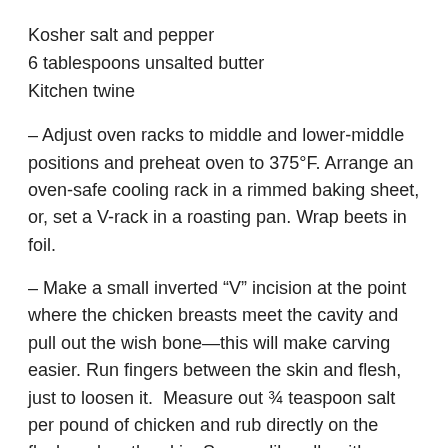Kosher salt and pepper
6 tablespoons unsalted butter
Kitchen twine
– Adjust oven racks to middle and lower-middle positions and preheat oven to 375°F. Arrange an oven-safe cooling rack in a rimmed baking sheet, or, set a V-rack in a roasting pan. Wrap beets in foil.
– Make a small inverted “V” incision at the point where the chicken breasts meet the cavity and pull out the wish bone—this will make carving easier. Run fingers between the skin and flesh, just to loosen it. Measure out ¾ teaspoon salt per pound of chicken and rub directly on the flesh and on the skin. Season liberally with pepper.
– Cut 4 tablespoons butter into thin slices and tuck under